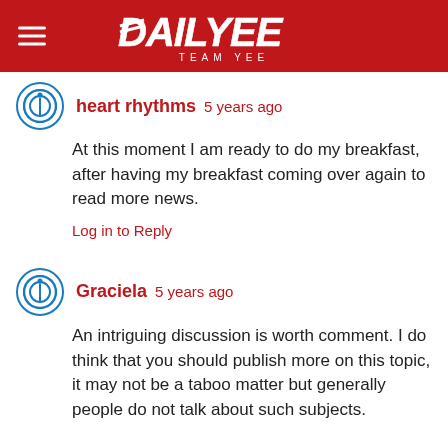DAILYEE TEAM YEE
heart rhythms  5 years ago
At this moment I am ready to do my breakfast, after having my breakfast coming over again to read more news.
Log in to Reply
Graciela  5 years ago
An intriguing discussion is worth comment. I do think that you should publish more on this topic, it may not be a taboo matter but generally people do not talk about such subjects.

To the next! All the best!!
Log in to Reply